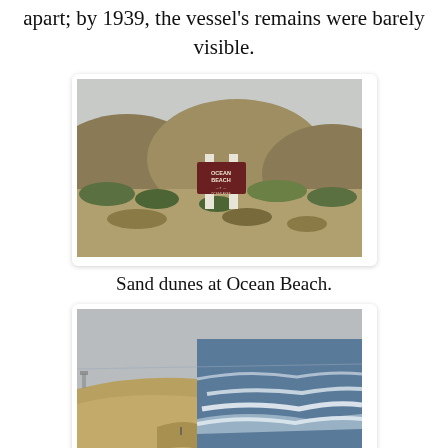apart; by 1939, the vessel's remains were barely visible.
[Figure (photo): Sand dunes with dry scrub vegetation and an Ocean Beach sign between two white posts, overcast sky]
Sand dunes at Ocean Beach.
[Figure (photo): Aerial view of Ocean Beach shoreline with waves, sandy beach, and ocean water under overcast sky]
Ocean Beach.